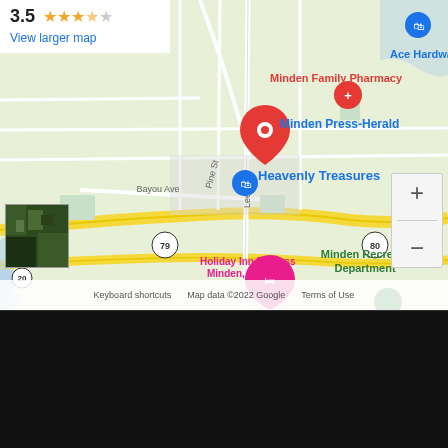[Figure (map): Google Maps screenshot showing Minden, Louisiana area with markers for Minden Press-Herald (red pin), Minden Family Pharmacy, Heavenly Treasures, Ace Hardware, Minden Recreation Department, Holiday Inn Express Minden an IHG. Roads including route 79 and 80 visible. Rating of 3.5 stars shown. Zoom controls and satellite thumbnail visible.]
© 2021 Specht Newspapers, Inc. All rights reserved.
HOME   COMPANY INFO   GROW YOUR LOCAL BUSINESS   CAREERS   CONTACT